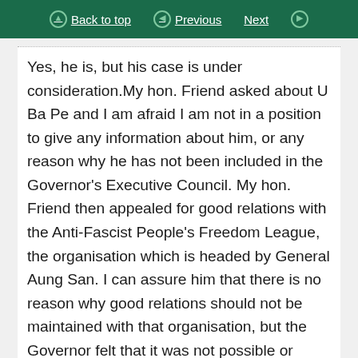Back to top | Previous | Next
Yes, he is, but his case is under consideration.My hon. Friend asked about U Ba Pe and I am afraid I am not in a position to give any information about him, or any reason why he has not been included in the Governor's Executive Council. My hon. Friend then appealed for good relations with the Anti-Fascist People's Freedom League, the organisation which is headed by General Aung San. I can assure him that there is no reason why good relations should not be maintained with that organisation, but the Governor felt that it was not possible or practicable to meet the demands that they put forward when he was consulting with them as to the form of the Executive Council. At the same time the door is still open and the…